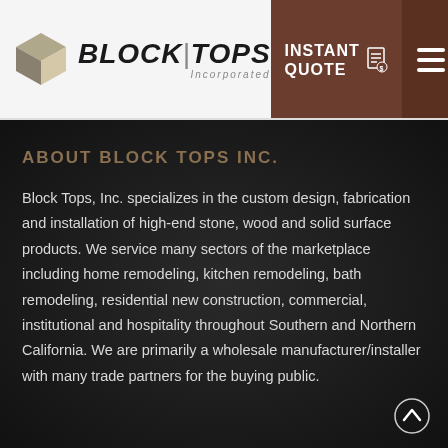[Figure (logo): Block Tops Incorporated logo with cube icon and bold text BLOCK|TOPS Incorporated]
[Figure (infographic): Header navigation buttons: brown INSTANT QUOTE button with document icon, and brown hamburger menu icon button]
ABOUT BLOCK TOPS INC.
Block Tops, Inc. specializes in the custom design, fabrication and installation of high-end stone, wood and solid surface products. We service many sectors of the marketplace including home remodeling, kitchen remodeling, bath remodeling, residential new construction, commercial, institutional and hospitality throughout Southern and Northern California. We are primarily a wholesale manufacturer/installer with many trade partners for the buying public.